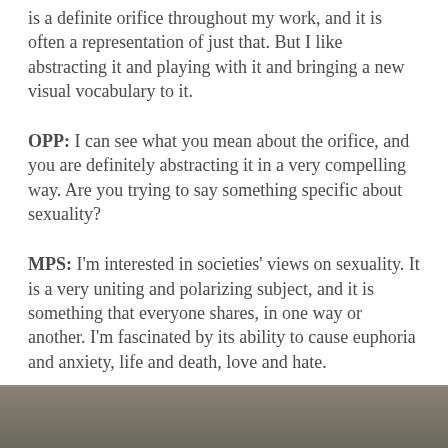is a definite orifice throughout my work, and it is often a representation of just that. But I like abstracting it and playing with it and bringing a new visual vocabulary to it.
OPP: I can see what you mean about the orifice, and you are definitely abstracting it in a very compelling way. Are you trying to say something specific about sexuality?
MPS: I'm interested in societies' views on sexuality. It is a very uniting and polarizing subject, and it is something that everyone shares, in one way or another. I'm fascinated by its ability to cause euphoria and anxiety, life and death, love and hate.
[Figure (photo): Partial view of a photograph with a muted brown-grey toned background, showing the bottom portion of an image.]